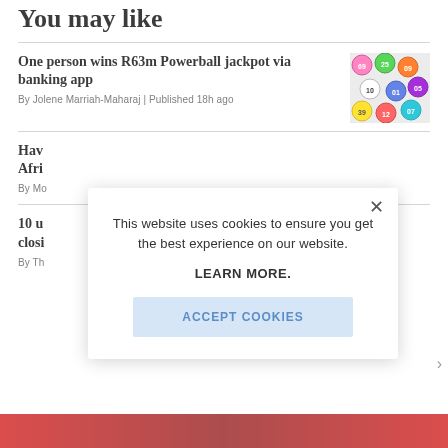You may like
One person wins R63m Powerball jackpot via banking app
By Jolene Marriah-Maharaj | Published 18h ago
[Figure (photo): Colorful lottery balls]
Hav... Afri...
By Mo...
10 u... closi...
By Th...
[Figure (screenshot): Cookie consent modal dialog overlaying news website. Text reads: This website uses cookies to ensure you get the best experience on our website. LEARN MORE. Button: ACCEPT COOKIES. Close X button in top right.]